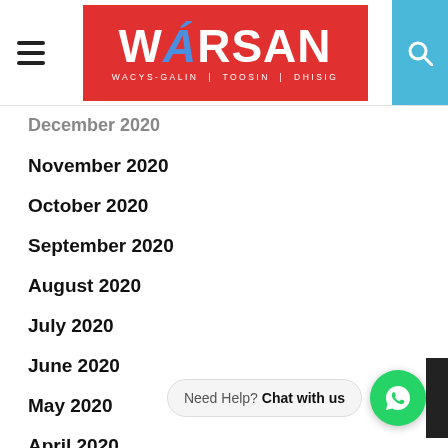WARSAN — navigation header with hamburger menu, logo, and search icon
December 2020
November 2020
October 2020
September 2020
August 2020
July 2020
June 2020
May 2020
April 2020
March 2020
February 2020
January 2020
December 2019
November 2019
Need Help? Chat with us